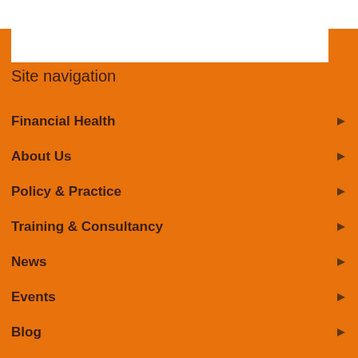Site navigation
Financial Health
About Us
Policy & Practice
Training & Consultancy
News
Events
Blog
Contact us